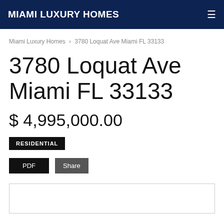MIAMI LUXURY HOMES
Miami Luxury Homes > 3780 Loquat Ave Miami FL 33133
3780 Loquat Ave Miami FL 33133
$ 4,995,000.00
RESIDENTIAL
PDF  Share